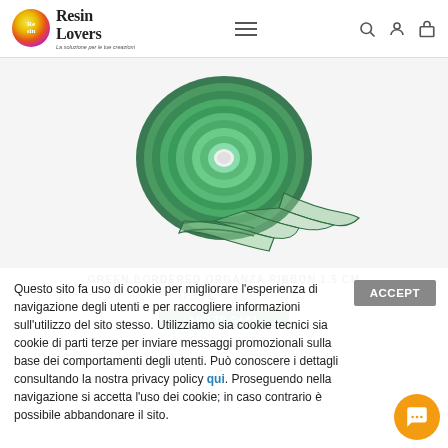Resin Lovers — La soluzione per le tue creazioni
[Figure (photo): A roll of green bordered organza ribbon 1.5 cm, with a piece of ribbon unrolled showing its sheer green texture with darker green borders]
GREEN BORDERED ORGANZA RIBBON 1.5 CM
0.35 € Tax included
ADD TO CART
Consegna: da 1 a 3 settimane
Questo sito fa uso di cookie per migliorare l'esperienza di navigazione degli utenti e per raccogliere informazioni sull'utilizzo del sito stesso. Utilizziamo sia cookie tecnici sia cookie di parti terze per inviare messaggi promozionali sulla base dei comportamenti degli utenti. Può conoscere i dettagli consultando la nostra privacy policy qui. Proseguendo nella navigazione si accetta l'uso dei cookie; in caso contrario è possibile abbandonare il sito.